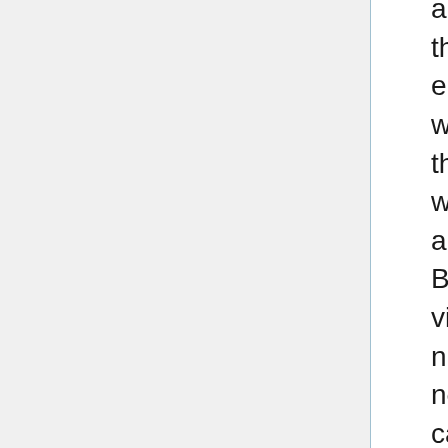applications of crisper, but with viral vectors, they are both. Right? The you and you engineer the virus to infect the cells that you want and deliver the gene that you want. Right, there are four main types of viral vectors that were using today, each with their own strengths and weaknesses. There's no perfect Silver Bullet but here they are. So one are the Adeno viruses. The adenovirus is delivered DNA to the nucleus the DNA gets to the nucleus but does not get incorporated into the genome. So it's called it's considered Epi somos. Meaning the DNA just floats around in the nucleus and gets transcribed into proteins, but it's not part of the DNA. So that's both an advantage and a disadvantage. It's an advantage because the delivered genetic material will become